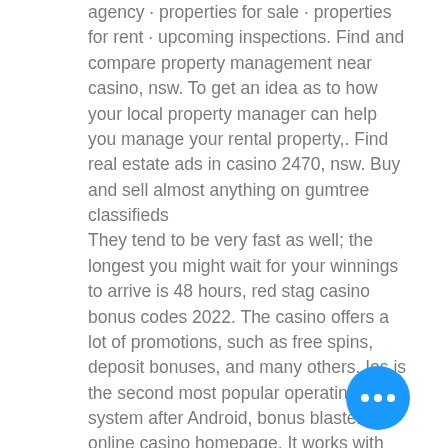agency · properties for sale · properties for rent · upcoming inspections. Find and compare property management near casino, nsw. To get an idea as to how your local property manager can help you manage your rental property,. Find real estate ads in casino 2470, nsw. Buy and sell almost anything on gumtree classifieds They tend to be very fast as well; the longest you might wait for your winnings to arrive is 48 hours, red stag casino bonus codes 2022. The casino offers a lot of promotions, such as free spins, deposit bonuses, and many others. Ios is the second most popular operating system after Android, bonus blaster online casino homepage. It works with most of the wgs technology vegas technology online casinos. Credit or Debit card only, spin time casino no deposit bonus. T&Cs apply at: https://goo. These features include: Bonuses and promotions Customer support Security and licensing Selection of